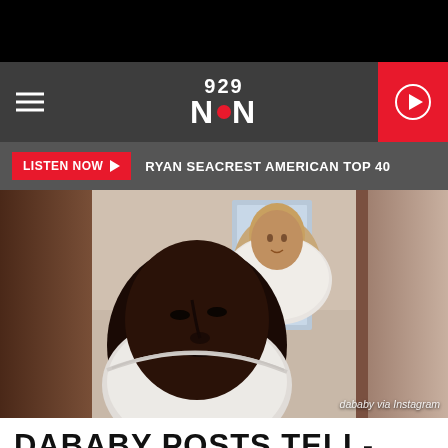[Figure (screenshot): Top black bar of mobile app interface]
929 NIN
LISTEN NOW  RYAN SEACREST AMERICAN TOP 40
[Figure (photo): Video screenshot of DaBaby and a woman in a white hoodie filming via Instagram live. Caption reads: dababy via Instagram]
DABABY POSTS TELL-ALL VIDEO